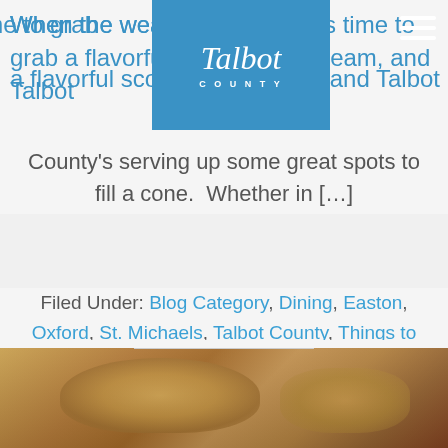When the weather... it's time to grab a flavorful scoo... eam, and Talbot
County's serving up some great spots to fill a cone.  Whether in […]
Filed Under: Blog Category, Dining, Easton, Oxford, St. Michaels, Talbot County, Things to Do, Uncategorized Tagged with:
[Figure (photo): Food photo showing a croissant or baked good, warm tones, bottom of page]